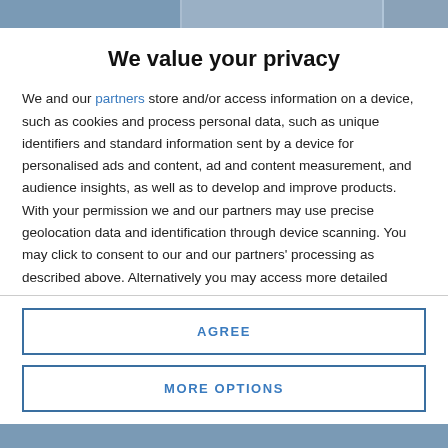[Figure (photo): Top banner photo strip showing a blurred background scene]
We value your privacy
We and our partners store and/or access information on a device, such as cookies and process personal data, such as unique identifiers and standard information sent by a device for personalised ads and content, ad and content measurement, and audience insights, as well as to develop and improve products. With your permission we and our partners may use precise geolocation data and identification through device scanning. You may click to consent to our and our partners' processing as described above. Alternatively you may access more detailed information and change your preferences before consenting or to refuse consenting. Please note that some processing of your personal data may not require your consent, but you have a right to
AGREE
MORE OPTIONS
[Figure (photo): Bottom banner photo strip]